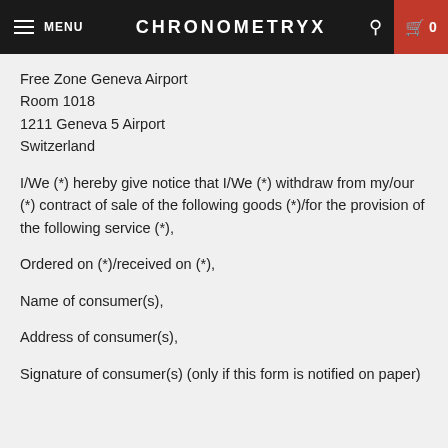MENU  CHRONOMETRYX  0
Free Zone Geneva Airport
Room 1018
1211 Geneva 5 Airport
Switzerland
I/We (*) hereby give notice that I/We (*) withdraw from my/our (*) contract of sale of the following goods (*)/for the provision of the following service (*),
Ordered on (*)/received on (*),
Name of consumer(s),
Address of consumer(s),
Signature of consumer(s) (only if this form is notified on paper)
Date,